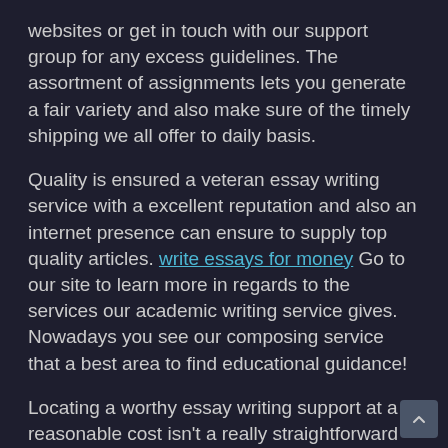websites or get in touch with our support group for any excess guidelines. The assortment of assignments lets you generate a fair variety and also make sure of the timely shipping we all offer to daily basis.
Quality is ensured a veteran essay writing service with a excellent reputation and also an internet presence can ensure to supply top quality articles. write essays for money Go to our site to learn more in regards to the services our academic writing service gives. Nowadays you see our composing service that a best area to find educational guidance!
Locating a worthy essay writing support at a reasonable cost isn't a really straightforward job for an inexperienced student. The aforementioned instances furnish you with a risk for the 100% refund and aid develop a trustworthy relationship with the newspaper services. So, in line with our coverages, you're totally permitted receive your hard earned money straight back.